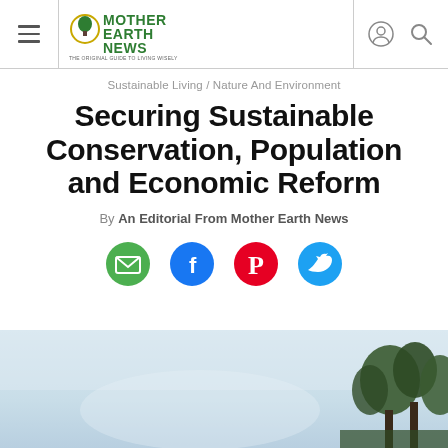Mother Earth News — THE ORIGINAL GUIDE TO LIVING WISELY
Sustainable Living / Nature And Environment
Securing Sustainable Conservation, Population and Economic Reform
By An Editorial From Mother Earth News
[Figure (other): Social sharing icons: email (green), Facebook (blue), Pinterest (red), Twitter (blue)]
[Figure (photo): Hero landscape photo showing a pale sky with silhouetted trees on the right side]